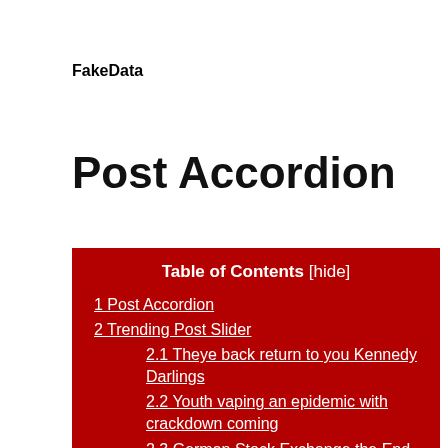FakeData
Post Accordion
| Table of Contents |
| --- |
| 1 Post Accordion |
| 2 Trending Post Slider |
| 2.1 Theye back return to you Kennedy Darlings |
| 2.2 Youth vaping an epidemic with crackdown coming |
| 2.3 German Stock Exchange the End-to-End |